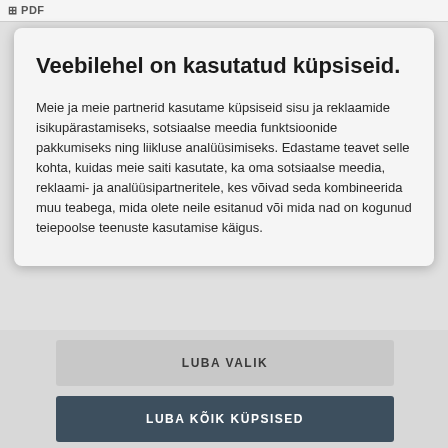PDF
Veebilehel on kasutatud küpsiseid.
Meie ja meie partnerid kasutame küpsiseid sisu ja reklaamide isikupärastamiseks, sotsiaalse meedia funktsioonide pakkumiseks ning liikluse analüüsimiseks. Edastame teavet selle kohta, kuidas meie saiti kasutate, ka oma sotsiaalse meedia, reklaami- ja analüüsipartneritele, kes võivad seda kombineerida muu teabega, mida olete neile esitanud või mida nad on kogunud teiepoolse teenuste kasutamise käigus.
LUBA VALIK
LUBA KÕIK KÜPSISED